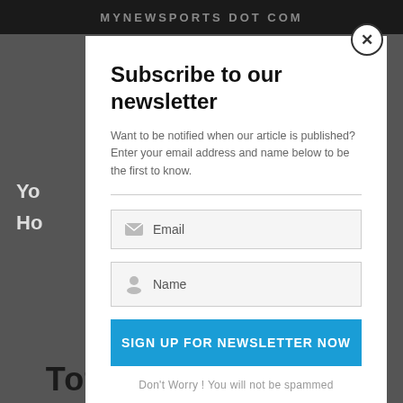MYNEWSPORTS DOT COM
Subscribe to our newsletter
Want to be notified when our article is published? Enter your email address and name below to be the first to know.
Email
Name
SIGN UP FOR NEWSLETTER NOW
Don't Worry ! You will not be spammed
Tottenham Hotspur